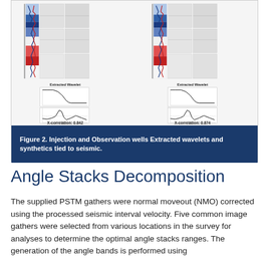[Figure (other): Two side-by-side panels showing Injection and Observation wells extracted wavelets and synthetics tied to seismic, each with seismic traces, wavelet extraction displays, extracted wavelet charts, and X-correlation values of 0.842 and 0.874 respectively.]
Figure 2. Injection and Observation wells Extracted wavelets and synthetics tied to seismic.
Angle Stacks Decomposition
The supplied PSTM gathers were normal moveout (NMO) corrected using the processed seismic interval velocity. Five common image gathers were selected from various locations in the survey for analyses to determine the optimal angle stacks ranges. The generation of the angle bands is performed using